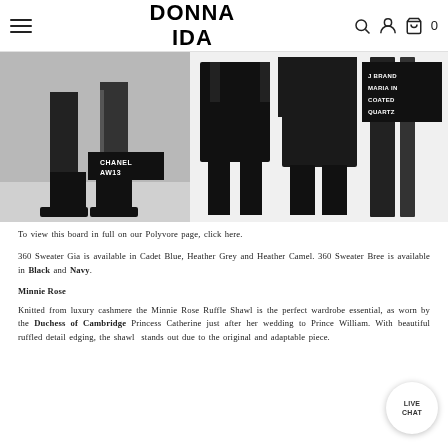DONNA IDA
[Figure (photo): Two fashion photos: left shows legs in black boots labeled CHANEL AW13; right shows black knitwear outfits with J BRAND MARIA IN COATED QUARTZ label]
To view this board in full on our Polyvore page, click here.
360 Sweater Gia is available in Cadet Blue, Heather Grey and Heather Camel. 360 Sweater Bree is available in Black and Navy.
Minnie Rose
Knitted from luxury cashmere the Minnie Rose Ruffle Shawl is the perfect wardrobe essential, as worn by the Duchess of Cambridge Princess Catherine just after her wedding to Prince William. With beautiful ruffled detail edging, the shawl stands out due to the original and adaptable piece.